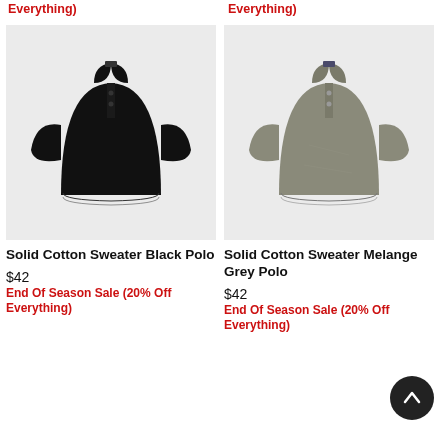End Of Season Sale (20% Off Everything)
End Of Season Sale (20% Off Everything)
[Figure (photo): Black short-sleeve cotton sweater polo shirt on white/light grey background]
[Figure (photo): Grey melange short-sleeve cotton sweater polo shirt on white/light grey background]
Solid Cotton Sweater Black Polo
Solid Cotton Sweater Melange Grey Polo
$42
End Of Season Sale (20% Off Everything)
$42
End Of Season Sale (20% Off Everything)